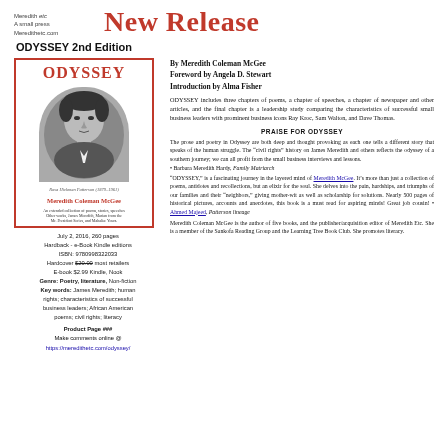Meredith etc
A small press
Meredithetc.com
New Release
ODYSSEY 2nd Edition
[Figure (illustration): Book cover for ODYSSEY by Meredith Coleman McGee, showing title in red, a black-and-white oval portrait photo, author name in red, and subtitle text, all within a red border.]
July 2, 2016, 260 pages
Hardback - e-Book Kindle editions
ISBN: 9780998322033
Hardcover $20.00 most retailers
E-book $2.99 Kindle, Nook
Genre: Poetry, literature, Non-fiction
Key words: James Meredith; human rights; characteristics of successful business leaders; African American poems; civil rights; literacy
Product Page ###
Make comments online @
https://meredithetc.com/odyssey/
By Meredith Coleman McGee
Foreword by Angela D. Stewart
Introduction by Alma Fisher
ODYSSEY includes three chapters of poems, a chapter of speeches, a chapter of newspaper and other articles, and the final chapter is a leadership study comparing the characteristics of successful small business leaders with prominent business icons Ray Kroc, Sam Walton, and Dave Thomas.
PRAISE FOR ODYSSEY
The prose and poetry in Odyssey are both deep and thought provoking as each one tells a different story that speaks of the human struggle. The "civil rights" history on James Meredith and others reflects the odyssey of a southern journey; we can all profit from the small business interviews and lessons.
• Barbara Meredith Hardy, Family Matriarch
"ODYSSEY," is a fascinating journey in the layered mind of Meredith McGee. It's more than just a collection of poems, antidotes and recollections, but an elixir for the soul. She delves into the pain, hardships, and triumphs of our families and their "neighbors," giving mother-wit as well as scholarship for solutions. Nearly 500 pages of historical pictures, accounts and anecdotes, this book is a must read for aspiring minds! Great job cousin! • Ahmed Majeed, Patterson lineage
Meredith Coleman McGee is the author of five books, and the publisher/acquisition editor of Meredith Etc. She is a member of the Sankofa Reading Group and the Learning Tree Book Club. She promotes literacy.